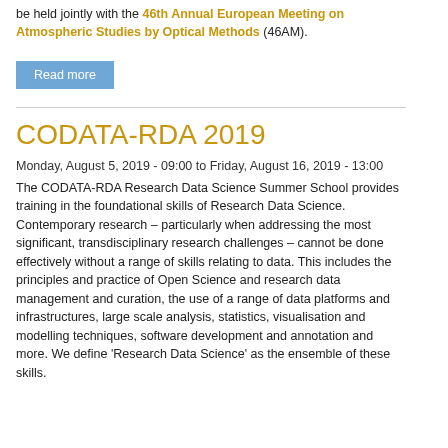be held jointly with the 46th Annual European Meeting on Atmospheric Studies by Optical Methods (46AM).
Read more
CODATA-RDA 2019
Monday, August 5, 2019 - 09:00 to Friday, August 16, 2019 - 13:00
The CODATA-RDA Research Data Science Summer School provides training in the foundational skills of Research Data Science.  Contemporary research – particularly when addressing the most significant, transdisciplinary research challenges – cannot be done effectively without a range of skills relating to data. This includes the principles and practice of Open Science and research data management and curation, the use of a range of data platforms and infrastructures, large scale analysis, statistics, visualisation and modelling techniques, software development and annotation and more. We define 'Research Data Science' as the ensemble of these skills.